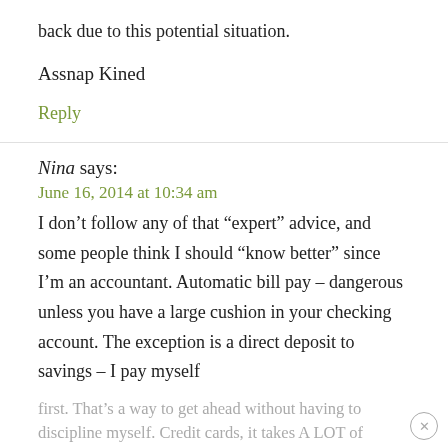back due to this potential situation.
Assnap Kined
Reply
Nina says:
June 16, 2014 at 10:34 am
I don’t follow any of that “expert” advice, and some people think I should “know better” since I’m an accountant. Automatic bill pay – dangerous unless you have a large cushion in your checking account. The exception is a direct deposit to savings – I pay myself first. That’s a way to get ahead without having to discipline myself. Credit cards, it takes A LOT of